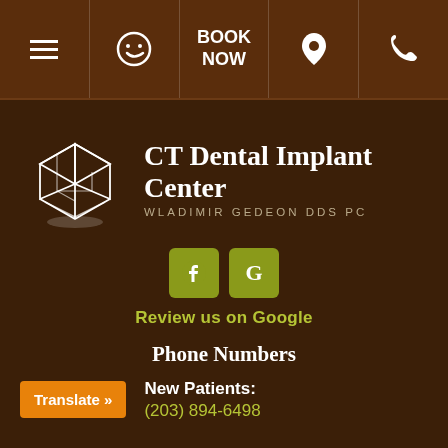☰  😊  BOOK NOW  📍  📞
[Figure (logo): CT Dental Implant Center logo — geometric cube shape in white outline with text 'CT Dental Implant Center' and 'WLADIMIR GEDEON DDS PC']
[Figure (other): Social media icons: Facebook (f) and Google (G) buttons in olive/yellow-green squares]
Review us on Google
Phone Numbers
New Patients:
(203) 894-6498
Translate »